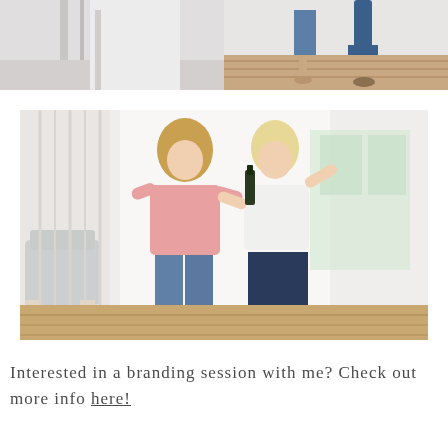[Figure (photo): Top-left photo showing interior of a white room with staircase railing and wall detail]
[Figure (photo): Top-right photo showing lower bodies of two women standing on hardwood floor, one in straight jeans and one in flared jeans]
[Figure (photo): Large center photo of two blonde women celebrating with a champagne bottle in a bright white room with tall curtains; one wears a pink blouse with skinny jeans, the other a white top with dark flare jeans; a blue velvet chair is visible on the left]
Interested in a branding session with me? Check out more info here!